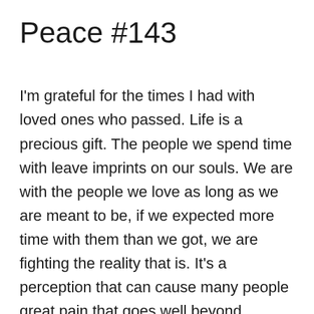Peace #143
I'm grateful for the times I had with loved ones who passed. Life is a precious gift. The people we spend time with leave imprints on our souls. We are with the people we love as long as we are meant to be, if we expected more time with them than we got, we are fighting the reality that is. It's a perception that can cause many people great pain that goes well beyond grieving. Years ago, I learned the importance of focusing on the time I did have. This perception of thought has helped me so much through times of grief.